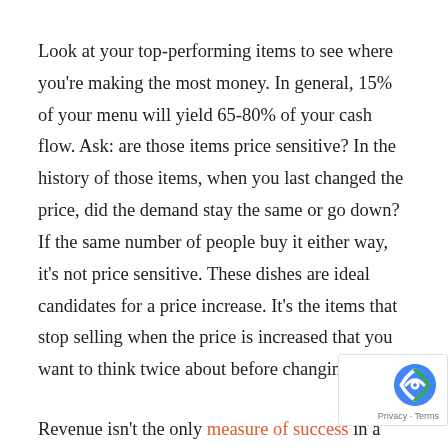Look at your top-performing items to see where you're making the most money. In general, 15% of your menu will yield 65-80% of your cash flow. Ask: are those items price sensitive? In the history of those items, when you last changed the price, did the demand stay the same or go down? If the same number of people buy it either way, it's not price sensitive. These dishes are ideal candidates for a price increase. It's the items that stop selling when the price is increased that you want to think twice about before changing.
Revenue isn't the only measure of success in a restaurant, but unless your business is a charity you'll need to turn a profit to keep the lights on. One of only levers a restaurant can pull in the face of costs of